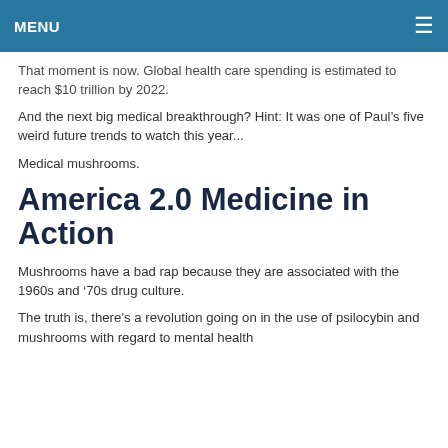MENU
That moment is now. Global health care spending is estimated to reach $10 trillion by 2022.
And the next big medical breakthrough? Hint: It was one of Paul’s five weird future trends to watch this year...
Medical mushrooms.
America 2.0 Medicine in Action
Mushrooms have a bad rap because they are associated with the 1960s and ‘70s drug culture.
The truth is, there’s a revolution going on in the use of psilocybin and mushrooms with regard to mental health